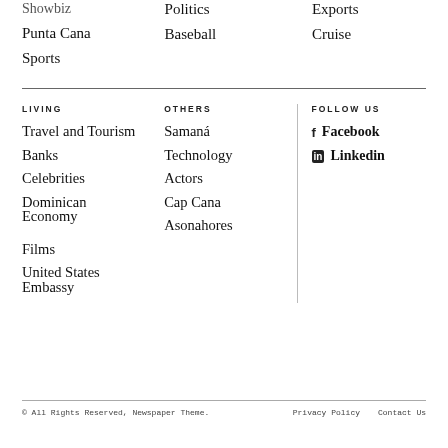Showbiz
Punta Cana
Sports
Politics
Baseball
Exports
Cruise
LIVING
OTHERS
FOLLOW US
Travel and Tourism
Banks
Celebrities
Dominican Economy
Films
United States Embassy
Samaná
Technology
Actors
Cap Cana
Asonahores
Facebook
Linkedin
© All Rights Reserved, Newspaper Theme.   Privacy Policy   Contact Us